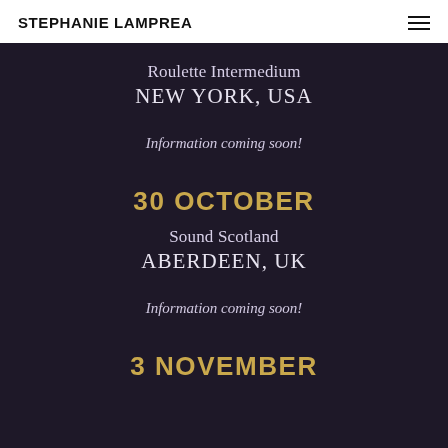STEPHANIE LAMPREA
Roulette Intermedium
NEW YORK, USA
Information coming soon!
30 OCTOBER
Sound Scotland
ABERDEEN, UK
Information coming soon!
3 NOVEMBER